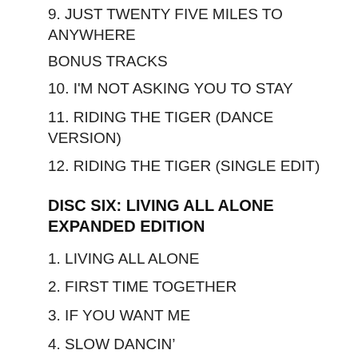9. JUST TWENTY FIVE MILES TO ANYWHERE
BONUS TRACKS
10. I'M NOT ASKING YOU TO STAY
11. RIDING THE TIGER (DANCE VERSION)
12. RIDING THE TIGER (SINGLE EDIT)
DISC SIX: LIVING ALL ALONE EXPANDED EDITION
1. LIVING ALL ALONE
2. FIRST TIME TOGETHER
3. IF YOU WANT ME
4. SLOW DANCIN’
5. OLD FRIEND
6. YOU JUST DON’T KNOW
7. AIN’T YOU HAD ENOUGH LOVE